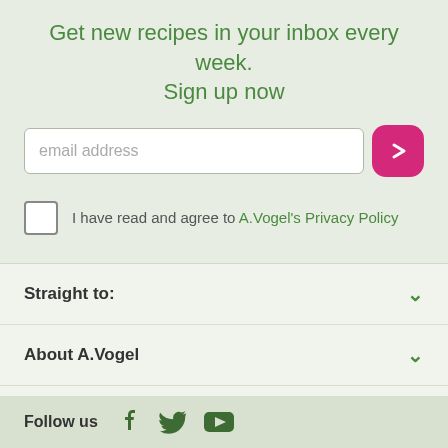Get new recipes in your inbox every week. Sign up now
email address
I have read and agree to A.Vogel's Privacy Policy
Straight to:
About A.Vogel
Contact Us
About Us
Follow us